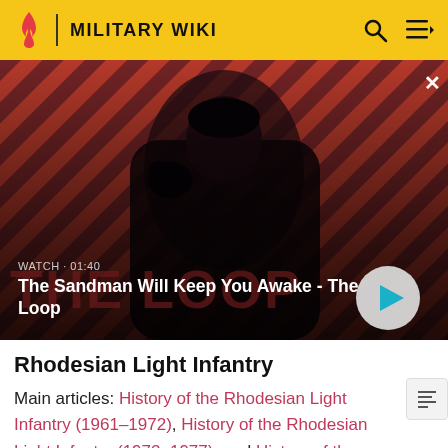MILITARY WIKI
[Figure (screenshot): Video thumbnail showing a dark-cloaked figure with a raven on shoulder against a red diagonal striped background. Text overlay: WATCH · 01:40. Title: The Sandman Will Keep You Awake - The Loop. Play button visible on right.]
Rhodesian Light Infantry
Main articles: History of the Rhodesian Light Infantry (1961–1972), History of the Rhodesian Light Infantry (1972–1977), and History of the Rhodesian Light Infantry (1977–1980)